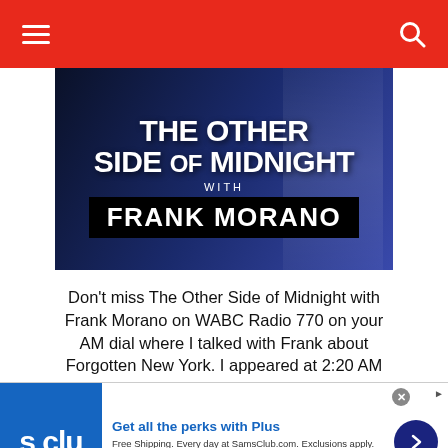Navigation bar with hamburger menu and search icon
[Figure (photo): Promotional image for 'The Other Side of Midnight with Frank Morano' radio show on WABC Radio 770. Dark blue background with a man in a suit visible, overlaid with bold white text reading 'THE OTHER SIDE OF MIDNIGHT WITH FRANK MORANO']
Don't miss The Other Side of Midnight with Frank Morano on WABC Radio 770 on your AM dial where I talked with Frank about Forgotten New York. I appeared at 2:20 AM Monday May o
[Figure (infographic): Sam's Club advertisement. Blue logo with 's clu' text. Ad reads: 'Get all the perks with Plus'. 'Free Shipping. Every day at SamsClub.com. Exclusions apply.' URL: www.samsclub.com. Blue circular arrow button on right.]